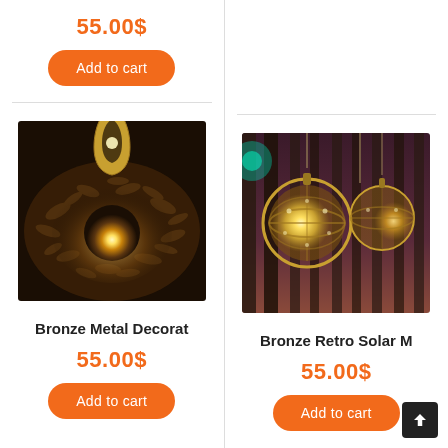55.00$
Add to cart
[Figure (photo): Bronze metal decorative solar lantern casting intricate floral shadow patterns on a surface, with bright warm light glowing from inside a teardrop-shaped lantern]
Bronze Metal Decorat
55.00$
Add to cart
[Figure (photo): Two bronze retro solar metal lanterns hanging from tree branches at dusk/night, glowing with warm yellow light, spherical shape with decorative metalwork]
Bronze Retro Solar M
55.00$
Add to cart